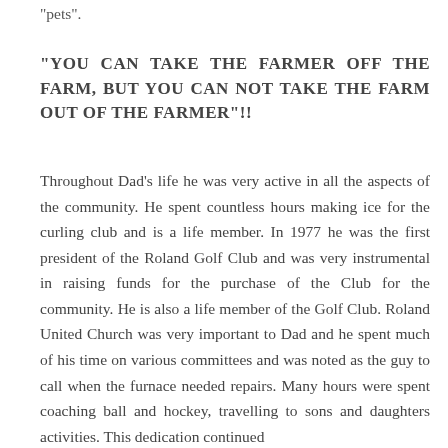"pets".
"YOU CAN TAKE THE FARMER OFF THE FARM, BUT YOU CAN NOT TAKE THE FARM OUT OF THE FARMER"!!
Throughout Dad's life he was very active in all the aspects of the community. He spent countless hours making ice for the curling club and is a life member. In 1977 he was the first president of the Roland Golf Club and was very instrumental in raising funds for the purchase of the Club for the community. He is also a life member of the Golf Club. Roland United Church was very important to Dad and he spent much of his time on various committees and was noted as the guy to call when the furnace needed repairs. Many hours were spent coaching ball and hockey, travelling to sons and daughters activities. This dedication continued